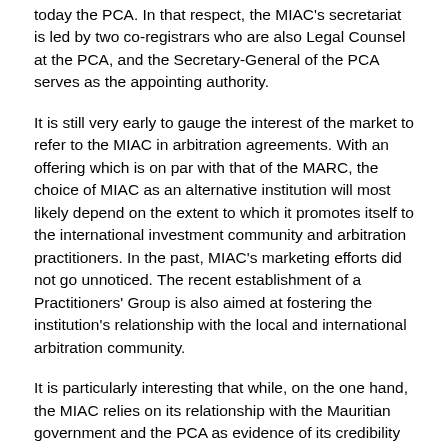today the PCA. In that respect, the MIAC's secretariat is led by two co-registrars who are also Legal Counsel at the PCA, and the Secretary-General of the PCA serves as the appointing authority.
It is still very early to gauge the interest of the market to refer to the MIAC in arbitration agreements. With an offering which is on par with that of the MARC, the choice of MIAC as an alternative institution will most likely depend on the extent to which it promotes itself to the international investment community and arbitration practitioners. In the past, MIAC's marketing efforts did not go unnoticed. The recent establishment of a Practitioners' Group is also aimed at fostering the institution's relationship with the local and international arbitration community.
It is particularly interesting that while, on the one hand, the MIAC relies on its relationship with the Mauritian government and the PCA as evidence of its credibility and stability, on the other hand, the MARC puts forward its absolute political and institutional independence as a stronghold of its mission to represent and be used by the business community. Be that as it may, in our view, both Mauritian arbitration centres seem generally well equipped to administer international arbitration matters with the level of sophistication and experience as their international competitors. Whether one is better suited than the other for reference in a